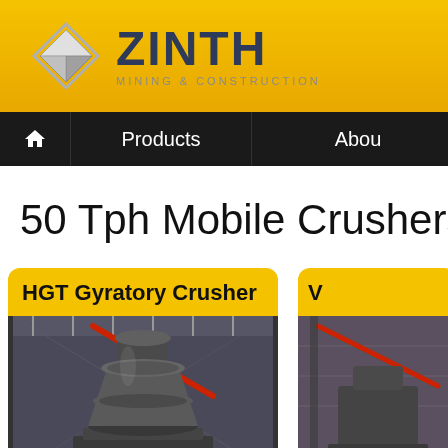[Figure (logo): ZINTH Mining & Construction logo with geometric diamond-shaped icon and company name]
Products | About
50 Tph Mobile Crushers Manu...
[Figure (photo): HGT Gyratory Crusher product card with photo of industrial gyratory crusher machinery in a facility]
[Figure (photo): Second product card (partially visible) with photo of industrial machinery]